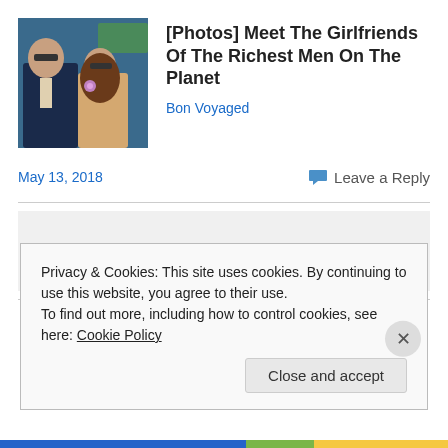[Figure (photo): Two people sitting, a man in suit with sunglasses and a young woman in a dress with sunglasses]
[Photos] Meet The Girlfriends Of The Richest Men On The Planet
Bon Voyaged
May 13, 2018
Leave a Reply
Privacy & Cookies: This site uses cookies. By continuing to use this website, you agree to their use.
To find out more, including how to control cookies, see here: Cookie Policy
Close and accept